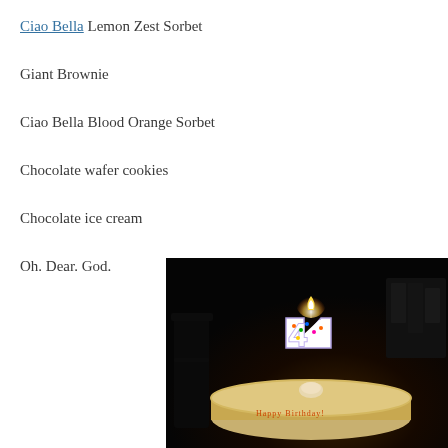Ciao Bella Lemon Zest Sorbet
Giant Brownie
Ciao Bella Blood Orange Sorbet
Chocolate wafer cookies
Chocolate ice cream
Oh. Dear. God.
[Figure (photo): A birthday cake with a number 4 candle on top, lit, with cursive writing on the cake. Dark background. A chair silhouette is visible on the left.]